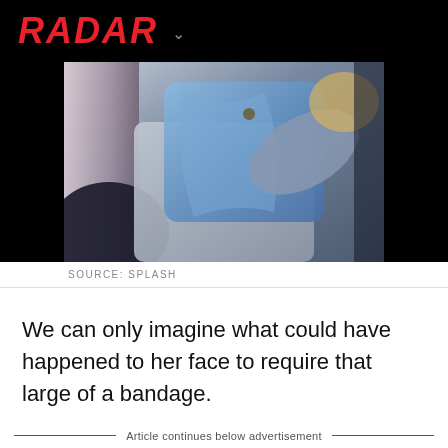RADAR
[Figure (photo): Person covering face with arm wearing a denim jacket and grey sweater, photo credit Splash]
SOURCE: SPLASH
We can only imagine what could have happened to her face to require that large of a bandage.
Article continues below advertisement